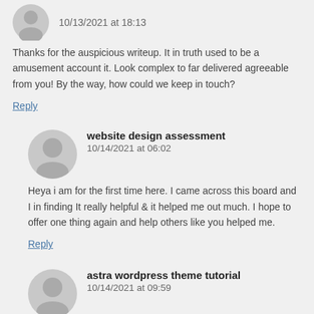10/13/2021 at 18:13
Thanks for the auspicious writeup. It in truth used to be a amusement account it. Look complex to far delivered agreeable from you! By the way, how could we keep in touch?
Reply
website design assessment
10/14/2021 at 06:02
Heya i am for the first time here. I came across this board and I in finding It really helpful & it helped me out much. I hope to offer one thing again and help others like you helped me.
Reply
astra wordpress theme tutorial
10/14/2021 at 09:59